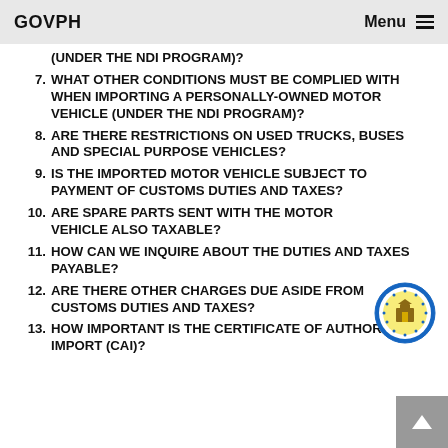GOVPH  Menu
(UNDER THE NDI PROGRAM)?
7. WHAT OTHER CONDITIONS MUST BE COMPLIED WITH WHEN IMPORTING A PERSONALLY-OWNED MOTOR VEHICLE (UNDER THE NDI PROGRAM)?
8. ARE THERE RESTRICTIONS ON USED TRUCKS, BUSES AND SPECIAL PURPOSE VEHICLES?
9. IS THE IMPORTED MOTOR VEHICLE SUBJECT TO PAYMENT OF CUSTOMS DUTIES AND TAXES?
10. ARE SPARE PARTS SENT WITH THE MOTOR VEHICLE ALSO TAXABLE?
11. HOW CAN WE INQUIRE ABOUT THE DUTIES AND TAXES PAYABLE?
12. ARE THERE OTHER CHARGES DUE ASIDE FROM CUSTOMS DUTIES AND TAXES?
13. HOW IMPORTANT IS THE CERTIFICATE OF AUTHORITY TO IMPORT (CAI)?